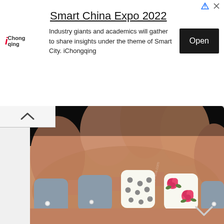[Figure (screenshot): Advertisement banner for Smart China Expo 2022 by iChongqing with an Open button]
Smart China Expo 2022
Industry giants and academics will gather to share insights under the theme of Smart City. iChongqing
[Figure (photo): Close-up photo of a hand with nail art: gray matte nails with rhinestone accents, one nail with gray polka dots on white, and one nail with pink roses on white background]